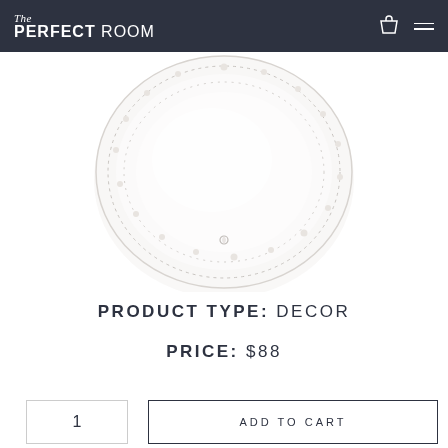The PERFECT ROOM
[Figure (photo): White decorative plate with embossed bead border detail, photographed from above on white background]
PRODUCT TYPE:  DECOR
PRICE:  $88
1
ADD TO CART